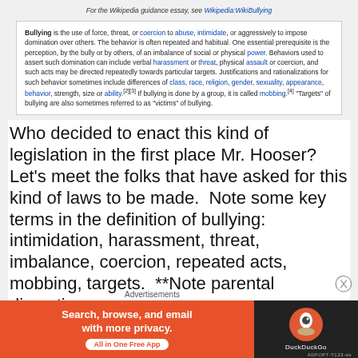For the Wikipedia guidance essay, see Wikipedia:WikiBullying
Bullying is the use of force, threat, or coercion to abuse, intimidate, or aggressively to impose domination over others. The behavior is often repeated and habitual. One essential prerequisite is the perception, by the bully or by others, of an imbalance of social or physical power. Behaviors used to assert such domination can include verbal harassment or threat, physical assault or coercion, and such acts may be directed repeatedly towards particular targets. Justifications and rationalizations for such behavior sometimes include differences of class, race, religion, gender, sexuality, appearance, behavior, strength, size or ability.[2][3] If bullying is done by a group, it is called mobbing.[4] "Targets" of bullying are also sometimes referred to as "victims" of bullying.
Who decided to enact this kind of legislation in the first place Mr. Hooser? Let's meet the folks that have asked for this kind of laws to be made.  Note some key terms in the definition of bullying: intimidation, harassment, threat, imbalance, coercion, repeated acts, mobbing, targets.  **Note parental discretion
Advertisements
[Figure (screenshot): DuckDuckGo advertisement banner: orange background on left with text 'Search, browse, and email with more privacy. All in One Free App', and dark background on right with DuckDuckGo logo]